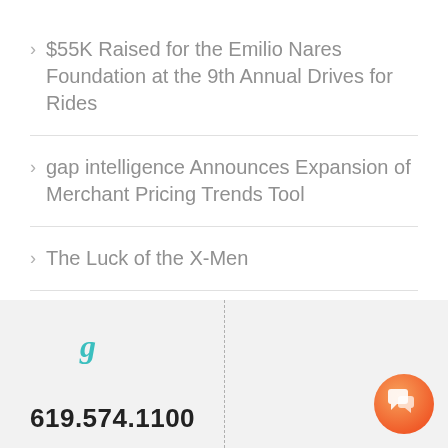$55K Raised for the Emilio Nares Foundation at the 9th Annual Drives for Rides
gap intelligence Announces Expansion of Merchant Pricing Trends Tool
The Luck of the X-Men
[Figure (logo): Stylized italic 'g' in teal/cyan color, representing the gap intelligence logo]
619.574.1100